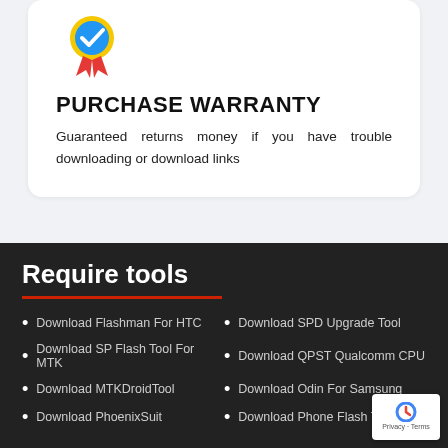[Figure (illustration): Award/warranty badge icon: yellow medal with blue checkmark and red ribbon]
PURCHASE WARRANTY
Guaranteed returns money if you have trouble downloading or download links
Require tools
Download Flashman For HTC
Download SP Flash Tool For MTK
Download MTKDroidTool
Download PhoenixSuit
Download SPD Upgrade Tool
Download QPST Qualcomm CPU
Download Odin For Samsung
Download Phone Flash Tool